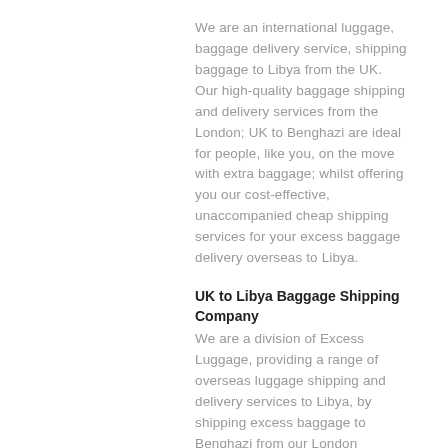We are an international luggage, baggage delivery service, shipping baggage to Libya from the UK. Our high-quality baggage shipping and delivery services from the London; UK to Benghazi are ideal for people, like you, on the move with extra baggage; whilst offering you our cost-effective, unaccompanied cheap shipping services for your excess baggage delivery overseas to Libya.
UK to Libya Baggage Shipping Company
We are a division of Excess Luggage, providing a range of overseas luggage shipping and delivery services to Libya, by shipping excess baggage to Benghazi from our London Heathrow Hub. We ship baggage from all over the UK to Libya be it in a suitcase, luggage or boxes of personal belongings to Benghazi, via air cargo and road freight forwarding services from; England, Scotland and Wales, to {all cities} in Libya.
Send Excess Baggage to Benghazi, Libya